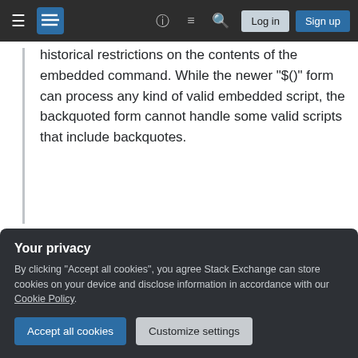[Figure (screenshot): Stack Exchange website navigation bar with hamburger menu, logo, help icon, chat icon, search icon, Log in button, and Sign up button on dark background]
historical restrictions on the contents of the embedded command. While the newer "$()" form can process any kind of valid embedded script, the backquoted form cannot handle some valid scripts that include backquotes.
If you continue reading that section the failures are highlighted showing how they would fail using backticks, but do work using the newer dollar parens notation.
Your privacy
By clicking "Accept all cookies", you agree Stack Exchange can store cookies on your device and disclose information in accordance with our Cookie Policy.
stop working entirely at some planned point.